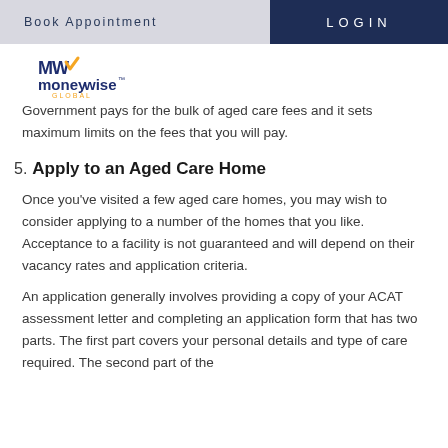Book Appointment  |  LOGIN
[Figure (logo): Moneywise Global logo with orange and blue branding]
Government pays for the bulk of aged care fees and it sets maximum limits on the fees that you will pay.
5. Apply to an Aged Care Home
Once you've visited a few aged care homes, you may wish to consider applying to a number of the homes that you like. Acceptance to a facility is not guaranteed and will depend on their vacancy rates and application criteria.
An application generally involves providing a copy of your ACAT assessment letter and completing an application form that has two parts. The first part covers your personal details and type of care required. The second part of the